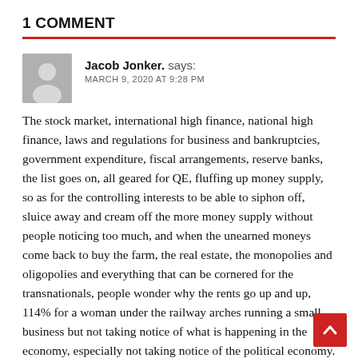1 COMMENT
Jacob Jonker. says:
MARCH 9, 2020 AT 9:28 PM
The stock market, international high finance, national high finance, laws and regulations for business and bankruptcies, government expenditure, fiscal arrangements, reserve banks, the list goes on, all geared for QE, fluffing up money supply, so as for the controlling interests to be able to siphon off, sluice away and cream off the more money supply without people noticing too much, and when the unearned moneys come back to buy the farm, the real estate, the monopolies and oligopolies and everything that can be cornered for the transnationals, people wonder why the rents go up and up, 114% for a woman under the railway arches running a small business but not taking notice of what is happening in the economy, especially not taking notice of the political economy.